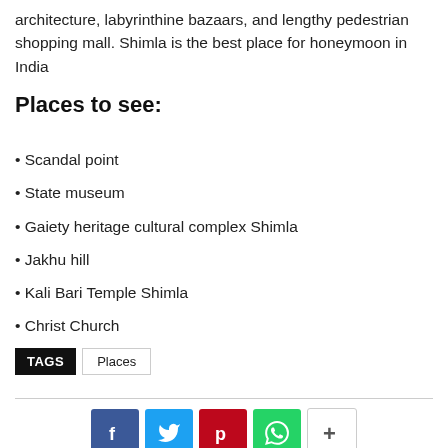architecture, labyrinthine bazaars, and lengthy pedestrian shopping mall. Shimla is the best place for honeymoon in India
Places to see:
Scandal point
State museum
Gaiety heritage cultural complex Shimla
Jakhu hill
Kali Bari Temple Shimla
Christ Church
TAGS  Places